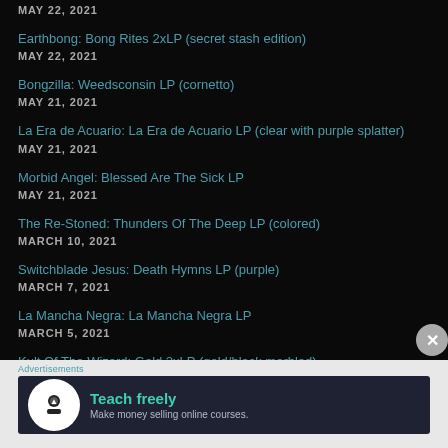MAY 22, 2021
Earthbong: Bong Rites 2xLP (secret stash edition)
MAY 22, 2021
Bongzilla: Weedsconsin LP (cornetto)
MAY 21, 2021
La Era de Acuario: La Era de Acuario LP (clear with purple splatter)
MAY 21, 2021
Morbid Angel: Blessed Are The Sick LP
MAY 21, 2021
The Re-Stoned: Thunders Of The Deep LP (colored)
MARCH 10, 2021
Switchblade Jesus: Death Hymns LP (purple)
MARCH 7, 2021
La Mancha Negra: La Mancha Negra LP
MARCH 5, 2021
Kult Of The Wizard: Gold 2xLP (gold/black marbled)
[Figure (infographic): Advertisement banner: Teach freely - Make money selling online courses, with a white circular icon on dark navy background.]